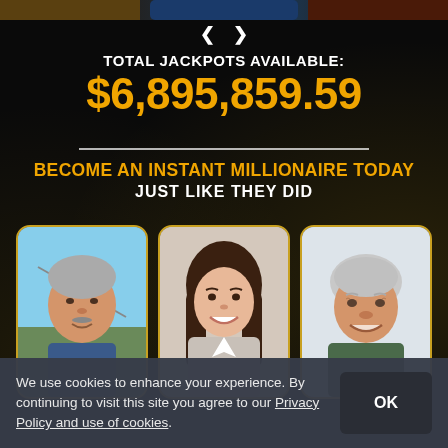[Figure (screenshot): Top strip with partial banner images of nature/landscapes]
< >
TOTAL JACKPOTS AVAILABLE: $6,895,859.59
BECOME AN INSTANT MILLIONAIRE TODAY
JUST LIKE THEY DID
[Figure (photo): Three portrait photos of winners: older man outdoors, young woman smiling, older man smiling]
We use cookies to enhance your experience. By continuing to visit this site you agree to our Privacy Policy and use of cookies.